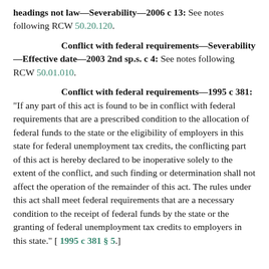headings not law—Severability—2006 c 13: See notes following RCW 50.20.120.
Conflict with federal requirements—Severability—Effective date—2003 2nd sp.s. c 4: See notes following RCW 50.01.010.
Conflict with federal requirements—1995 c 381: "If any part of this act is found to be in conflict with federal requirements that are a prescribed condition to the allocation of federal funds to the state or the eligibility of employers in this state for federal unemployment tax credits, the conflicting part of this act is hereby declared to be inoperative solely to the extent of the conflict, and such finding or determination shall not affect the operation of the remainder of this act. The rules under this act shall meet federal requirements that are a necessary condition to the receipt of federal funds by the state or the granting of federal unemployment tax credits to employers in this state." [ 1995 c 381 § 5.]